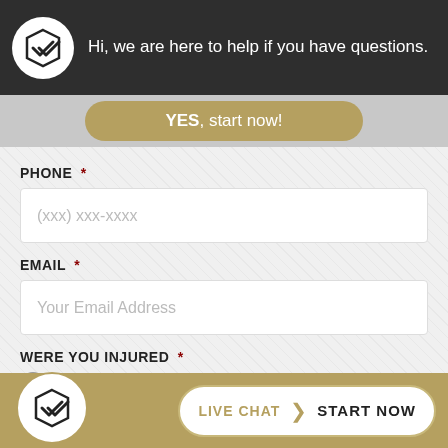Hi, we are here to help if you have questions.
YES, start now!
PHONE *
(xxx) xxx-xxxx
EMAIL *
Your Email Address
WERE YOU INJURED *
YES
NO
LIVE CHAT | START NOW